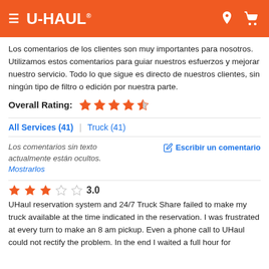U-HAUL
Los comentarios de los clientes son muy importantes para nosotros. Utilizamos estos comentarios para guiar nuestros esfuerzos y mejorar nuestro servicio. Todo lo que sigue es directo de nuestros clientes, sin ningún tipo de filtro o edición por nuestra parte.
Overall Rating: ★★★★½
All Services (41) | Truck (41)
Los comentarios sin texto actualmente están ocultos. Mostrarlos
✎ Escribir un comentario
★★★☆☆ 3.0
UHaul reservation system and 24/7 Truck Share failed to make my truck available at the time indicated in the reservation. I was frustrated at every turn to make an 8 am pickup. Even a phone call to UHaul could not rectify the problem. In the end I waited a full hour for